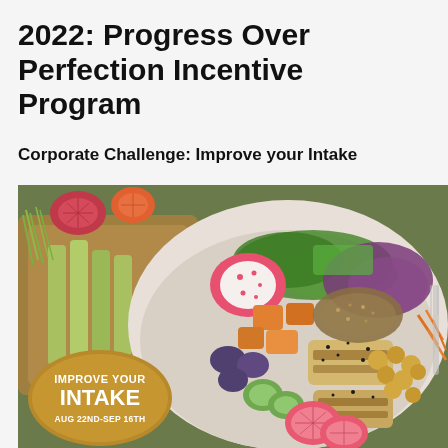2022: Progress Over Perfection Incentive Program
Corporate Challenge: Improve your Intake
[Figure (photo): Overhead photo of a colorful healthy food spread: a bowl filled with grilled tofu, chickpeas, dragon fruit, sweet potato cubes, cucumber slices, purple potatoes, shredded purple cabbage, microgreens, quinoa, and grapefruit slices. Beside it is a wooden board with celery sticks, blood orange slices, and more vegetables. Overlaid with a golden/tan rounded badge reading 'IMPROVE YOUR INTAKE AUG 22ND-SEP 16TH'.]